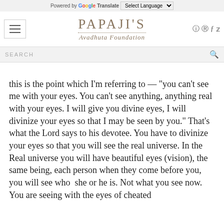Powered by Google Translate  Select Language
PAPAJI'S Avadhuta Foundation
SEARCH
this is the point which I'm referring to — "you can't see me with your eyes. You can't see anything, anything real with your eyes. I will give you divine eyes, I will divinize your eyes so that I may be seen by you." That's what the Lord says to his devotee. You have to divinize your eyes so that you will see the real universe. In the Real universe you will have beautiful eyes (vision), the same being, each person when they come before you, you will see who  she or he is. Not what you see now. You are seeing with the eyes of cheated